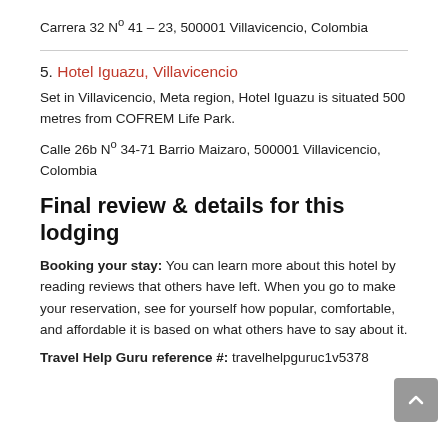Carrera 32 Nº 41 – 23, 500001 Villavicencio, Colombia
5. Hotel Iguazu, Villavicencio
Set in Villavicencio, Meta region, Hotel Iguazu is situated 500 metres from COFREM Life Park.
Calle 26b Nº 34-71 Barrio Maizaro, 500001 Villavicencio, Colombia
Final review & details for this lodging
Booking your stay: You can learn more about this hotel by reading reviews that others have left. When you go to make your reservation, see for yourself how popular, comfortable, and affordable it is based on what others have to say about it.
Travel Help Guru reference #: travelhelpguruc1v5378